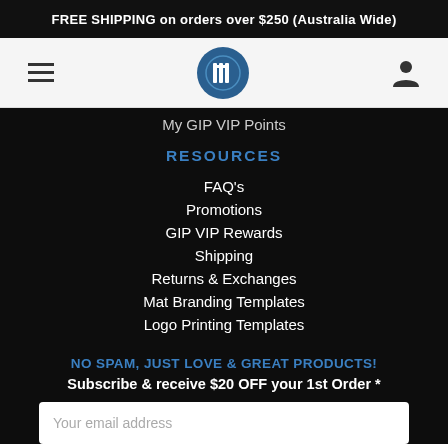FREE SHIPPING on orders over $250 (Australia Wide)
[Figure (logo): GIP logo circle with hamburger menu and user icon navigation bar]
My GIP VIP Points
RESOURCES
FAQ's
Promotions
GIP VIP Rewards
Shipping
Returns & Exchanges
Mat Branding Templates
Logo Printing Templates
NO SPAM, JUST LOVE & GREAT PRODUCTS!
Subscribe & receive $20 OFF your 1st Order *
Your email address